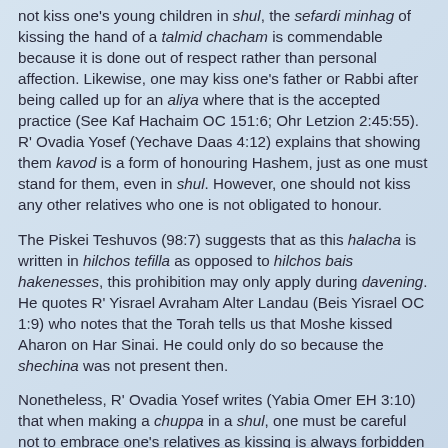not kiss one's young children in shul, the sefardi minhag of kissing the hand of a talmid chacham is commendable because it is done out of respect rather than personal affection. Likewise, one may kiss one's father or Rabbi after being called up for an aliya where that is the accepted practice (See Kaf Hachaim OC 151:6; Ohr Letzion 2:45:55). R' Ovadia Yosef (Yechave Daas 4:12) explains that showing them kavod is a form of honouring Hashem, just as one must stand for them, even in shul. However, one should not kiss any other relatives who one is not obligated to honour.
The Piskei Teshuvos (98:7) suggests that as this halacha is written in hilchos tefilla as opposed to hilchos bais hakenesses, this prohibition may only apply during davening. He quotes R' Yisrael Avraham Alter Landau (Beis Yisrael OC 1:9) who notes that the Torah tells us that Moshe kissed Aharon on Har Sinai. He could only do so because the shechina was not present then.
Nonetheless, R' Ovadia Yosef writes (Yabia Omer EH 3:10) that when making a chuppa in a shul, one must be careful not to embrace one's relatives as kissing is always forbidden in shuls (See Rivevos Ephraim 2:66).